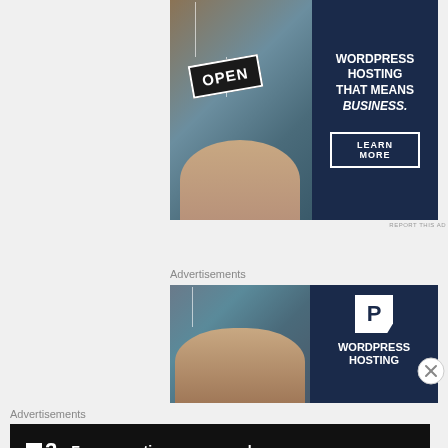[Figure (photo): Advertisement banner: Woman holding an OPEN sign with dark blue panel saying WORDPRESS HOSTING THAT MEANS BUSINESS. with a LEARN MORE button]
REPORT THIS AD
Advertisements
[Figure (photo): Second advertisement: Same woman with OPEN sign, dark blue panel with WordPress P logo and text WORDPRESS HOSTING]
[Figure (logo): Close/dismiss button circle with X]
Advertisements
[Figure (screenshot): Dark advertisement banner with square logo, number 2, and text: Fewer meetings, more work.]